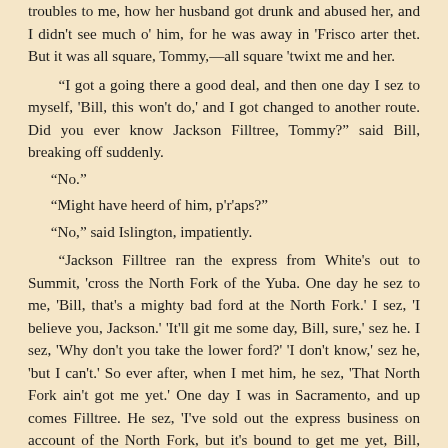troubles to me, how her husband got drunk and abused her, and I didn't see much o' him, for he was away in 'Frisco arter thet. But it was all square, Tommy,—all square 'twixt me and her.

"I got a going there a good deal, and then one day I sez to myself, 'Bill, this won't do,' and I got changed to another route. Did you ever know Jackson Filltree, Tommy?" said Bill, breaking off suddenly.
"No."
"Might have heerd of him, p'r'aps?"
"No," said Islington, impatiently.

"Jackson Filltree ran the express from White's out to Summit, 'cross the North Fork of the Yuba. One day he sez to me, 'Bill, that's a mighty bad ford at the North Fork.' I sez, 'I believe you, Jackson.' 'It'll git me some day, Bill, sure,' sez he. I sez, 'Why don't you take the lower ford?' 'I don't know,' sez he, 'but I can't.' So ever after, when I met him, he sez, 'That North Fork ain't got me yet.' One day I was in Sacramento, and up comes Filltree. He sez, 'I've sold out the express business on account of the North Fork, but it's bound to get me yet, Bill, sure'; and he laughs. Two weeks after they finds his body below the ford, whar he tried to cross, comin' down from the Summit way. Folks said it was foolishness: Tommy, I sez it was Fate! The second day arter I was changed to the